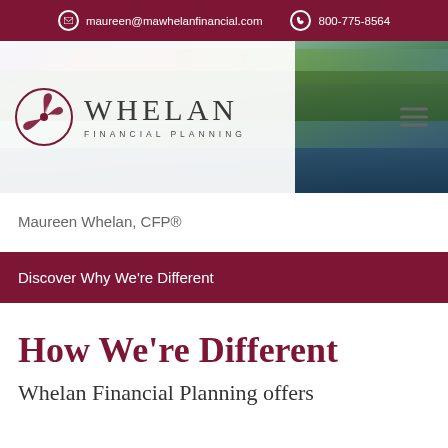maureen@mawhelanfinancial.com  800-775-8564
[Figure (logo): Whelan Financial Planning logo with triskelion symbol and scenic landscape background header]
Maureen Whelan, CFP®
Discover Why We're Different
How We're Different
Whelan Financial Planning offers